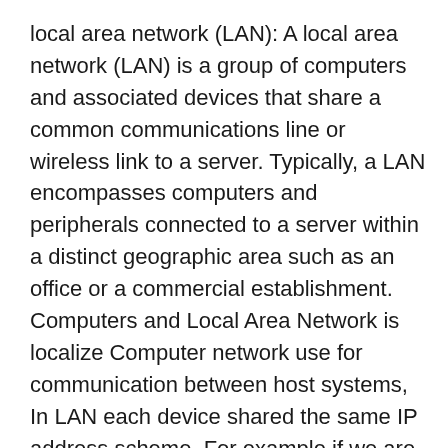local area network (LAN): A local area network (LAN) is a group of computers and associated devices that share a common communications line or wireless link to a server. Typically, a LAN encompasses computers and peripherals connected to a server within a distinct geographic area such as an office or a commercial establishment. Computers and Local Area Network is localize Computer network use for communication between host systems, In LAN each device shared the same IP address scheme. For example if we are using a network 172.16.0.0/24 then all the IP devices computer, printers, IP phones etc have the IP from same network-range. Diagram konseptual dari jaringan area lokal menggunakan topologi jaringan bus.